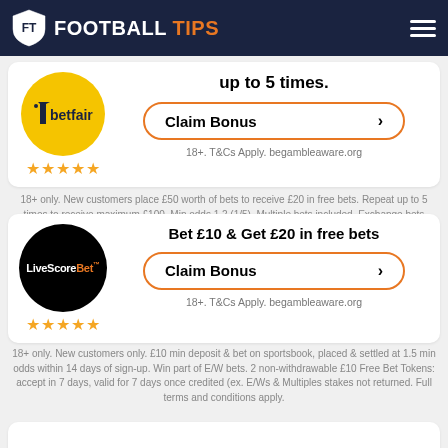FOOTBALL TIPS
place £50 worth of bets to receive... up to 5 times.
Claim Bonus >
18+. T&Cs Apply. begambleaware.org
18+ only. New customers place £50 worth of bets to receive £20 in free bets. Repeat up to 5 times to receive maximum £100. Min odds 1.2 (1/5). Multiple bets included. Exchange bets excluded. Payment restrictions apply. T&Cs apply.
Bet £10 & Get £20 in free bets
Claim Bonus >
18+. T&Cs Apply. begambleaware.org
18+ only. New customers only. £10 min deposit & bet on sportsbook, placed & settled at 1.5 min odds within 14 days of sign-up. Win part of E/W bets. 2 non-withdrawable £10 Free Bet Tokens: accept in 7 days, valid for 7 days once credited (ex. E/Ws & Multiples stakes not returned. Full terms and conditions apply.